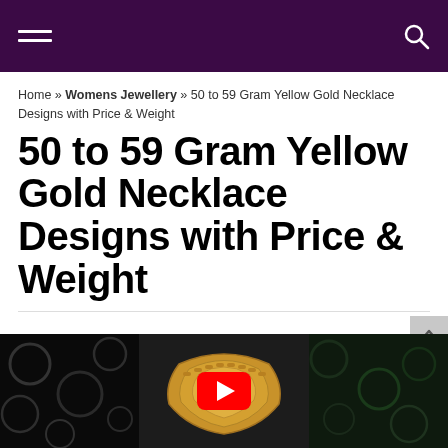Navigation header with hamburger menu and search icon
Home » Womens Jewellery » 50 to 59 Gram Yellow Gold Necklace Designs with Price & Weight
50 to 59 Gram Yellow Gold Necklace Designs with Price & Weight
[Figure (screenshot): YouTube video thumbnail showing a yellow gold necklace in the center panel with dark background panels on either side, and a red YouTube play button overlay]